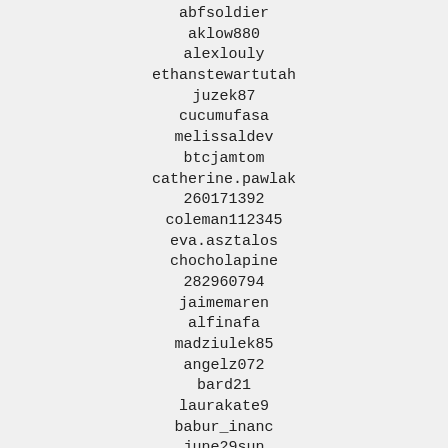abfsoldier
aklow880
alexlouly
ethanstewartutah
juzek87
cucumufasa
melissaldev
btcjamtom
catherine.pawlak
260171392
coleman112345
eva.asztalos
chocholapine
282960794
jaimemaren
alfinafa
madziulek85
angelz072
bard21
laurakate9
babur_inanc
june29sun
djay_freakinidiot69
dominikastyczynska